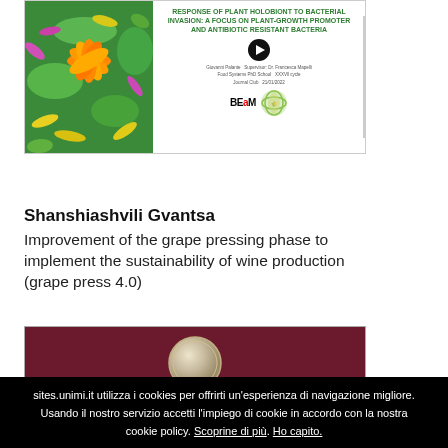[Figure (screenshot): Video thumbnail showing a colorful microscopy image of bacteria on the left and a slide title 'RESPONSE OF PLANT HOLOBIONT TO BACTERIAL INVASION: A FOCUS ON PLANT-GROWTH PROMOTER AND ANTIBIOTIC RESISTANT BACTERIA' on the right with a play button, presenter info, and BEaM lab logos.]
Shanshiashvili Gvantsa
Improvement of the grape pressing phase to implement the sustainability of wine production (grape press 4.0)
[Figure (screenshot): Video thumbnail with dark maroon background and a silver/grey coin or medallion visible at the top center.]
sites.unimi.it utilizza i cookies per offrirti un'esperienza di navigazione migliore. Usando il nostro servizio accetti l'impiego di cookie in accordo con la nostra cookie policy. Scoprine di più. Ho capito.